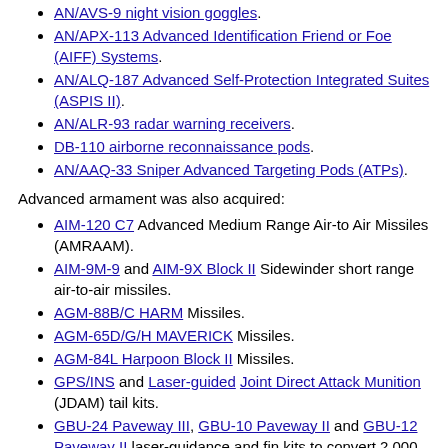AN/AVS-9 night vision goggles.
AN/APX-113 Advanced Identification Friend or Foe (AIFF) Systems.
AN/ALQ-187 Advanced Self-Protection Integrated Suites (ASPIS II).
AN/ALR-93 radar warning receivers.
DB-110 airborne reconnaissance pods.
AN/AAQ-33 Sniper Advanced Targeting Pods (ATPs).
Advanced armament was also acquired:
AIM-120 C7 Advanced Medium Range Air-to Air Missiles (AMRAAM).
AIM-9M-9 and AIM-9X Block II Sidewinder short range air-to-air missiles.
AGM-88B/C HARM Missiles.
AGM-65D/G/H MAVERICK Missiles.
AGM-84L Harpoon Block II Missiles.
GPS/INS and Laser-guided Joint Direct Attack Munition (JDAM) tail kits.
GBU-24 Paveway III, GBU-10 Paveway II and GBU-12 Paveway II laser-guidance and fin kits to convert 2,000 pound bombs.
[Figure (photo): Partial photo showing aircraft or sky background, blue sky visible]